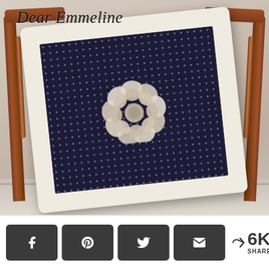[Figure (photo): A decorative throw pillow leaning against a wooden chair. The pillow has a cream/off-white border and a dark navy blue polka dot fabric center with a large cream crochet flower embellishment in the middle. The blog name 'Dear Emmeline' is overlaid in cursive script at the top left.]
6K SHARES
[Figure (infographic): Social share bar with four dark rounded-rectangle buttons showing Facebook, Pinterest, Twitter, and Email icons, followed by a share count showing '< 6K SHARES']